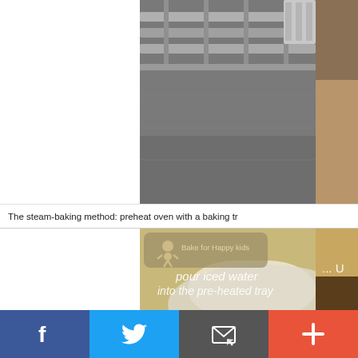[Figure (photo): Close-up photo of a metal oven baking tray/rack with dark metallic surface and grill bars visible, showing steam-baking setup]
The steam-baking method: preheat oven with a baking tr
[Figure (photo): Photo showing a bowl/tray with text overlay 'pour iced water into the pre-heated tray' and a 'Bake for Happy Kids' logo watermark with gingerbread man icon. Also shows '... U' text on right side. Baking-related instructional image.]
[Figure (infographic): Social sharing bar at bottom with four buttons: Facebook (blue), Twitter (light blue), Email (dark gray), and Plus/More (orange-red)]